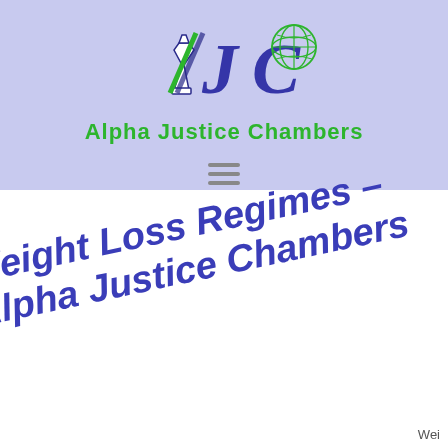[Figure (logo): Alpha Justice Chambers logo with stylized AJC letters in dark blue and a globe graphic in green, with text 'Alpha Justice Chambers' in green below]
Weight Loss Regimes – Alpha Justice Chambers
Wei